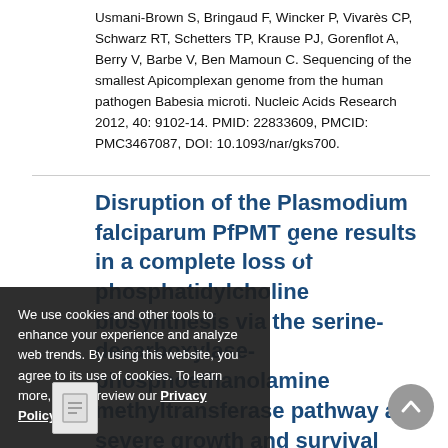Usmani-Brown S, Bringaud F, Wincker P, Vivarès CP, Schwarz RT, Schetters TP, Krause PJ, Gorenflot A, Berry V, Barbe V, Ben Mamoun C. Sequencing of the smallest Apicomplexan genome from the human pathogen Babesia microti. Nucleic Acids Research 2012, 40: 9102-14. PMID: 22833609, PMCID: PMC3467087, DOI: 10.1093/nar/gks700.
Disruption of the Plasmodium falciparum PfPMT gene results in a complete loss of phosphatidylcholine biosynthesis via the serine-decarboxylase-phosphoethanolamine methyltransferase pathway and severe growth and survival
We use cookies and other tools to enhance your experience and analyze web trends. By using this website, you agree to its use of cookies. To learn more, please review our Privacy Policy.